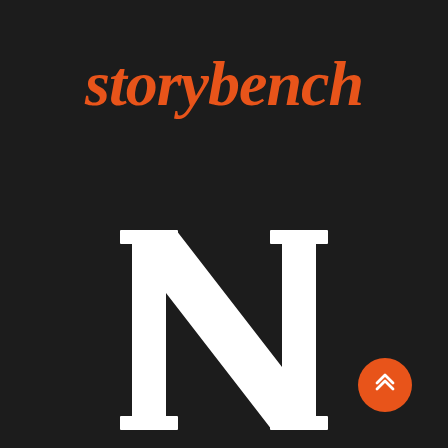storybench
[Figure (logo): Large white serif letter N centered on dark background, representing Notion or a similar brand logo]
[Figure (other): Orange circular button with double upward chevron arrows in white, positioned at bottom right]